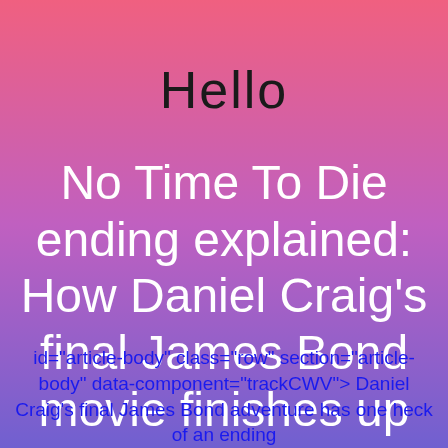Hello
No Time To Die ending explained: How Daniel Craig's final James Bond movie finishes up
id="article-body" class="row" section="article-body" data-component="trackCWV"> Daniel Craig's final James Bond adventure has one heck of an ending